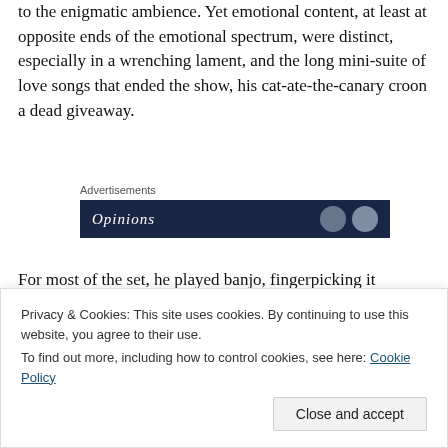to the enigmatic ambience. Yet emotional content, at least at opposite ends of the emotional spectrum, were distinct, especially in a wrenching lament, and the long mini-suite of love songs that ended the show, his cat-ate-the-canary croon a dead giveaway.
[Figure (other): Advertisement banner with dark navy background showing 'Opinions' text in italic white font with circular icons on the right, labeled 'Advertisements' above.]
For most of the set, he played banjo, fingerpicking it judiciously rather than frailing the strings bluegrass-style.
Toward the end, he picked up what looked like a childs...
Privacy & Cookies: This site uses cookies. By continuing to use this website, you agree to their use.
To find out more, including how to control cookies, see here: Cookie Policy